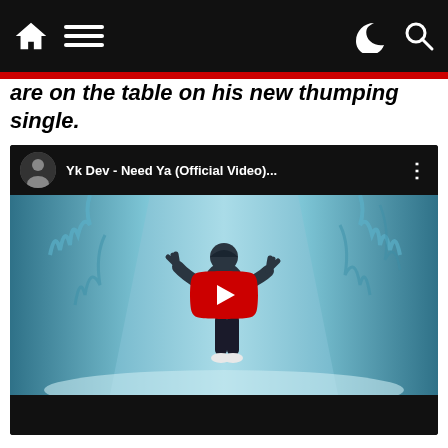Navigation header with home icon, menu icon, moon/dark mode icon, and search icon
are on the table on his new thumping single.
[Figure (screenshot): YouTube embedded video player showing 'Yk Dev - Need Ya (Official Video)...' with a person standing in a snowy blue-tinted corridor/cave scene. Large red YouTube play button in center. Black top bar with channel avatar and video title. Black bottom bar.]